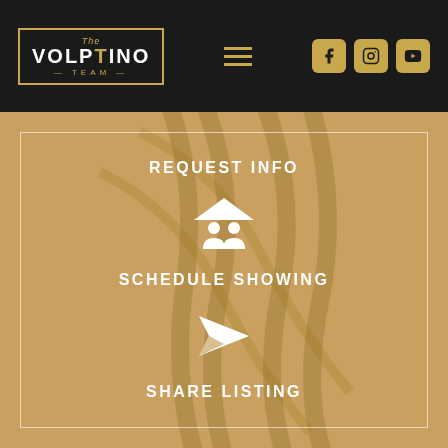The Volptino Team
REQUEST INFO
[Figure (illustration): House with people icon (schedule showing symbol)]
SCHEDULE SHOWING
[Figure (illustration): Paper plane icon (share listing symbol)]
SHARE LISTING